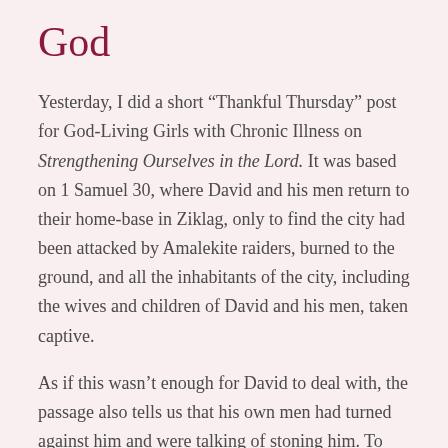God
Yesterday, I did a short “Thankful Thursday” post for God-Living Girls with Chronic Illness on Strengthening Ourselves in the Lord. It was based on 1 Samuel 30, where David and his men return to their home-base in Ziklag, only to find the city had been attacked by Amalekite raiders, burned to the ground, and all the inhabitants of the city, including the wives and children of David and his men, taken captive.
As if this wasn’t enough for David to deal with, the passage also tells us that his own men had turned against him and were talking of stoning him. To say David felt overwhelmed is an understatement. Yes, the passage says David (and those with him) “went until